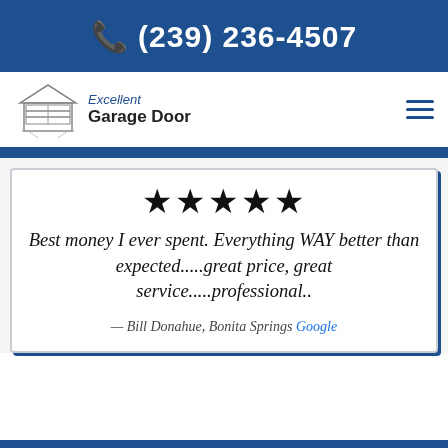📞 (239) 236-4507
[Figure (logo): Excellent Garage Door logo with house illustration and text]
★★★★★
Best money I ever spent. Everything WAY better than expected.....great price, great service.....professional..
— Bill Donahue, Bonita Springs  Google